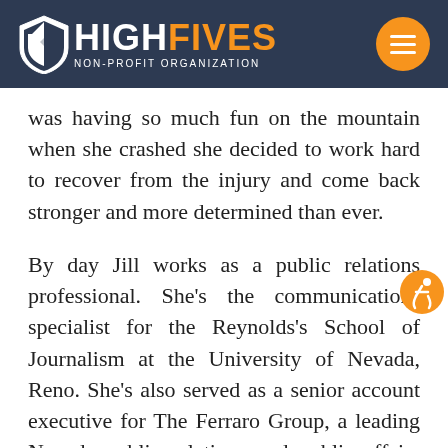HIGH FIVES NON-PROFIT ORGANIZATION
was having so much fun on the mountain when she crashed she decided to work hard to recover from the injury and come back stronger and more determined than ever.
By day Jill works as a public relations professional. She’s the communications specialist for the Reynolds’s School of Journalism at the University of Nevada, Reno. She’s also served as a senior account executive for The Ferraro Group, a leading Nevada public relations and public affairs firm, and communications manager for the Reno-